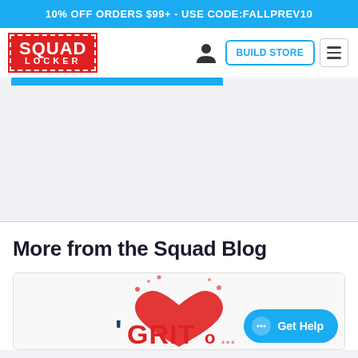10% OFF ORDERS $99+ - USE CODE:FALLPREV10
[Figure (logo): SquadLocker logo - red dashed-border box with SQUAD LOCKER text in white]
BUILD STORE
More from the Squad Blog
[Figure (illustration): Blog card image showing a red heart and colorful 'I GRIT' style text graphic]
Get Help